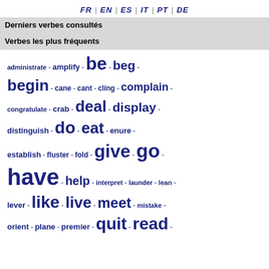FR | EN | ES | IT | PT | DE
Derniers verbes consultés
Verbes les plus fréquents
administrate - amplify - be - beg - begin - cane - cant - cling - complain - congratulate - crab - deal - display - distinguish - do - eat - enure - establish - fluster - fold - give - go - have - help - interpret - launder - lean - lever - like - live - meet - mistake - orient - plane - premier - quit - read